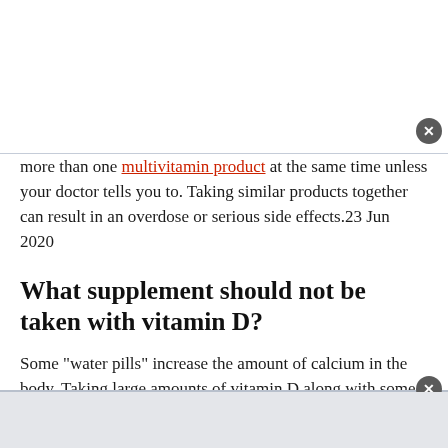more than one multivitamin product at the same time unless your doctor tells you to. Taking similar products together can result in an overdose or serious side effects.23 Jun 2020
What supplement should not be taken with vitamin D?
Some "water pills" increase the amount of calcium in the body. Taking large amounts of vitamin D along with some "water pills" might cause too much calcium in the body.